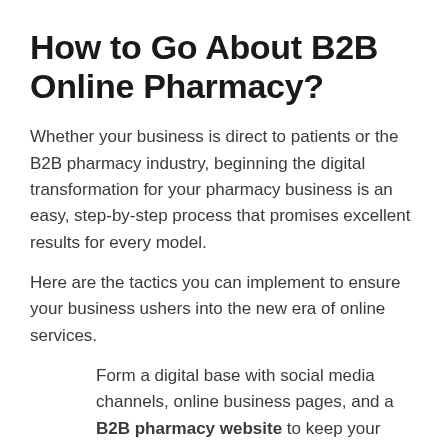How to Go About B2B Online Pharmacy?
Whether your business is direct to patients or the B2B pharmacy industry, beginning the digital transformation for your pharmacy business is an easy, step-by-step process that promises excellent results for every model.
Here are the tactics you can implement to ensure your business ushers into the new era of online services.
Form a digital base with social media channels, online business pages, and a B2B pharmacy website to keep your current customers updated with the latest offers, deals, and combos. Regularly posting and maintaining these channels also train the online algorithms to show your information to potential customers who